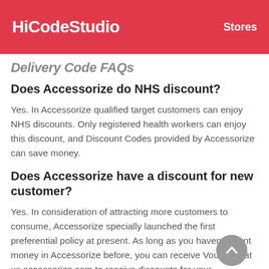HiCodeStudio    Stores
Delivery Code FAQs
Does Accessorize do NHS discount?
Yes. In Accessorize qualified target customers can enjoy NHS discounts. Only registered health workers can enjoy this discount, and Discount Codes provided by Accessorize can save money.
Does Accessorize have a discount for new customer?
Yes. In consideration of attracting more customers to consume, Accessorize specially launched the first preferential policy at present. As long as you haven't spent money in Accessorize before, you can receive Vouchers at us.accessorize.com to receive discounts for your